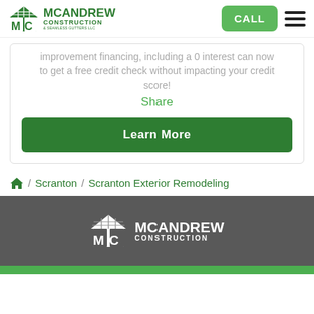[Figure (logo): McAndrew Construction & Seamless Gutters LLC logo with green house/M icon and green text]
improvement financing, including a 0 interest can now to get a free credit check without impacting your credit score!
Share
Learn More
🏠 / Scranton / Scranton Exterior Remodeling
[Figure (logo): McAndrew Construction white logo on dark grey background footer]